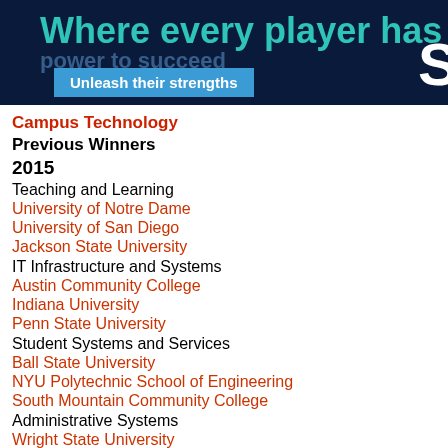[Figure (other): Dark navy banner with teal heading 'Where every player has a super', blue button 'Unleash their strengths', and partial white letter S on right]
Campus Technology
Previous Winners
2015
Teaching and Learning
University of Notre Dame
University of San Diego
Jackson State University
IT Infrastructure and Systems
Austin Community College
Indiana University
Penn State University
Student Systems and Services
Ball State University
NYU Polytechnic School of Engineering
South Mountain Community College
Administrative Systems
Wright State University